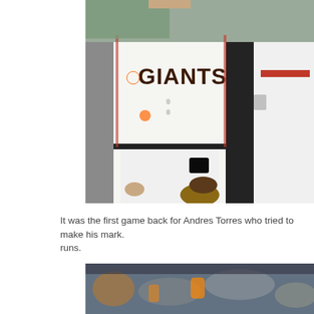[Figure (photo): San Francisco Giants player in white home jersey standing in dugout area, with teammates and staff visible in background; one player appears to be crouching down with a glove]
It was the first game back for Andres Torres who tried to make his mark. runs.
[Figure (photo): Crowd scene at a baseball stadium, fans visible in stands with orange and black colors suggesting San Francisco Giants game]